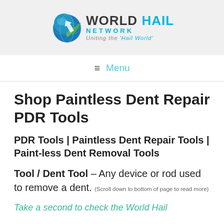[Figure (logo): World Hail Network logo with globe icon, bold text 'WORLD HAIL NETWORK', and tagline 'Uniting the Hail World']
≡  Menu
Shop Paintless Dent Repair PDR Tools
PDR Tools | Paintless Dent Repair Tools | Paint-less Dent Removal Tools
Tool / Dent Tool – Any device or rod used to remove a dent. (Scroll down to bottom of page to read more)
Take a second to check the World Hail